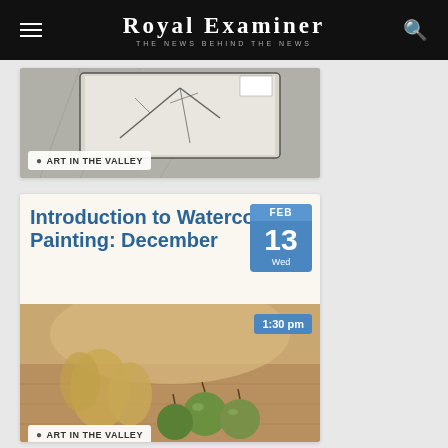Royal Examiner — The News Behind the News
[Figure (photo): Pencil sketch artwork on a tablet/pad, black and white drawing of branches]
ART IN THE VALLEY
Introduction to Watercolor Painting: December
FEB 13 Wed
[Figure (photo): Watercolor painting of green apples and pears in warm tones]
1:30 pm
ART IN THE VALLEY